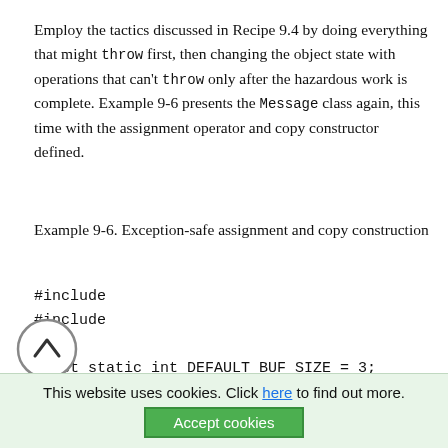Employ the tactics discussed in Recipe 9.4 by doing everything that might throw first, then changing the object state with operations that can't throw only after the hazardous work is complete. Example 9-6 presents the Message class again, this time with the assignment operator and copy constructor defined.
Example 9-6. Exception-safe assignment and copy construction
#include
#include

const static int DEFAULT_BUF_SIZE = 3;
const static int MAX_SIZE = 4096;

cl     Message {
public: